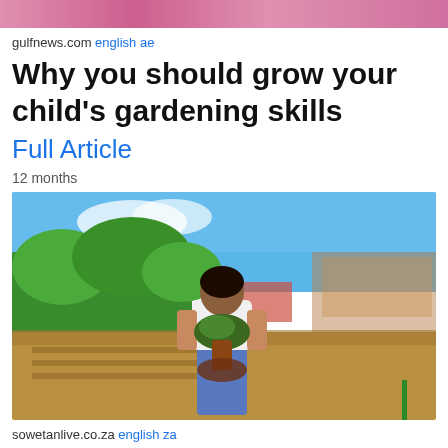[Figure (photo): Cropped top portion of a photo showing pink flowers]
gulfnews.com english ae
Why you should grow your child's gardening skills
Full Article
12 months
[Figure (photo): A woman in a white shirt and jeans holding a large plant with roots pulled from a garden, standing in an outdoor garden area with trees, a building, and blue sky in the background]
sowetanlive.co.za english za
READER LETTER | Try gardening to